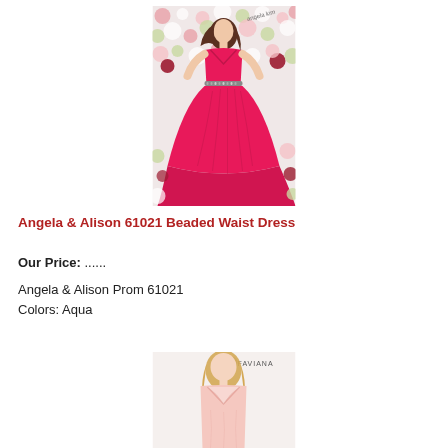[Figure (photo): Angela & Alison hot pink beaded waist ball gown worn by a brunette model standing in front of a floral wall backdrop. The dress has a V-neckline, beaded waist detail, and full satin skirt.]
Angela & Alison 61021 Beaded Waist Dress
Our Price: ......
Angela & Alison Prom 61021
Colors: Aqua
[Figure (photo): Faviana brand prom dress in a light pink/blush color worn by a blonde model. The dress appears to have a V-neckline. Partial image cut off at bottom of page.]